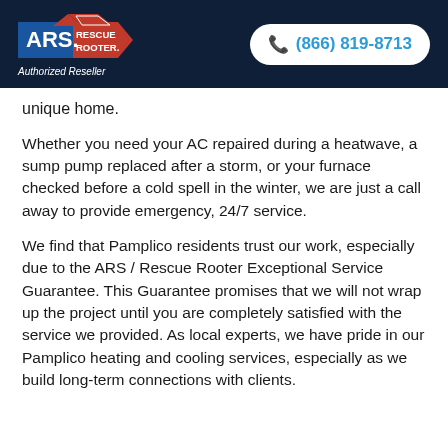ARS Rescue Rooter | Authorized Reseller | (866) 819-8713
unique home.
Whether you need your AC repaired during a heatwave, a sump pump replaced after a storm, or your furnace checked before a cold spell in the winter, we are just a call away to provide emergency, 24/7 service.
We find that Pamplico residents trust our work, especially due to the ARS / Rescue Rooter Exceptional Service Guarantee. This Guarantee promises that we will not wrap up the project until you are completely satisfied with the service we provided. As local experts, we have pride in our Pamplico heating and cooling services, especially as we build long-term connections with clients.